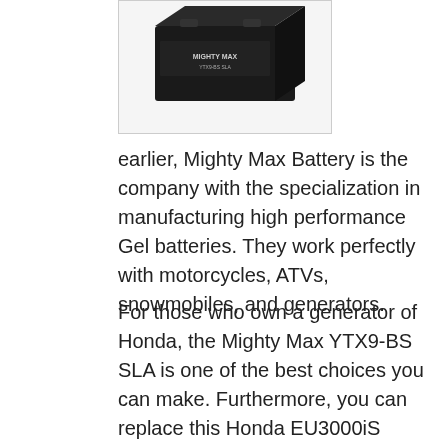[Figure (photo): A black battery product (Mighty Max Battery) photographed from above at an angle, showing the top surface with branding text, on a white background inside a light-bordered box.]
earlier, Mighty Max Battery is the company with the specialization in manufacturing high performance Gel batteries. They work perfectly with motorcycles, ATVs, snowmobiles, and generators.
For those who own a generator of Honda, the Mighty Max YTX9-BS SLA is one of the best choices you can make. Furthermore, you can replace this Honda EU3000iS battery with those of other manufacturers and resellers, like EverStart, Yuasa, and more.